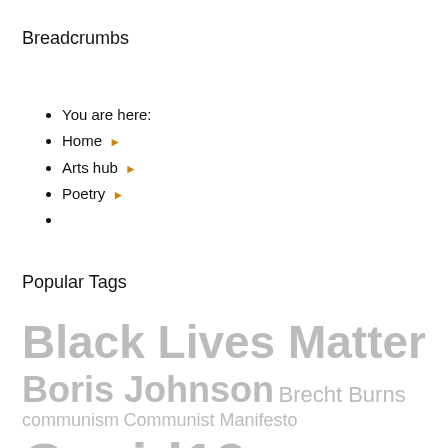Breadcrumbs
You are here:
Home ▶
Arts hub ▶
Poetry ▶
Popular Tags
Black Lives Matter Boris Johnson Brecht Burns communism Communist Manifesto Covid19 Cultural democracy cultural struggle